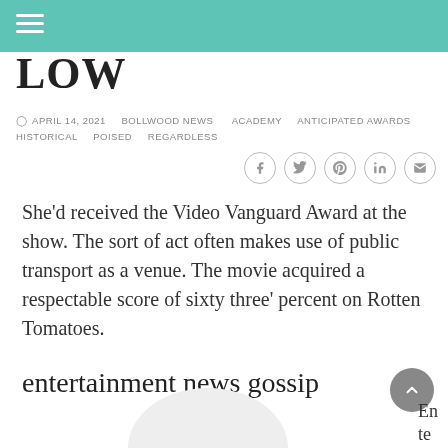LOW
APRIL 14, 2021   BOLLWOOD NEWS   ACADEMY   ANTICIPATED AWARDS   HISTORICAL   POISED   REGARDLESS
She'd received the Video Vanguard Award at the show. The sort of act often makes use of public transport as a venue. The movie acquired a respectable score of sixty three' percent on Rotten Tomatoes.
entertainment news gossip